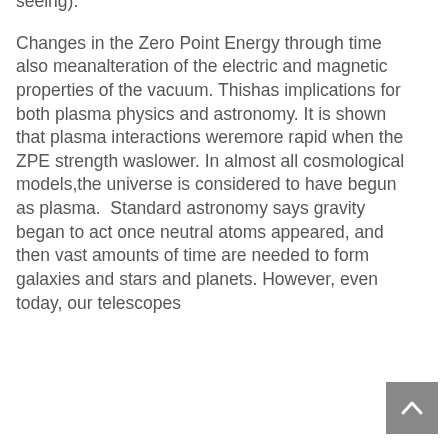seeing).
Changes in the Zero Point Energy through time also meanalteration of the electric and magnetic properties of the vacuum. Thishas implications for both plasma physics and astronomy. It is shown that plasma interactions weremore rapid when the ZPE strength waslower. In almost all cosmological models,the universe is considered to have begun as plasma.  Standard astronomy says gravity began to act once neutral atoms appeared, and then vast amounts of time are needed to form galaxies and stars and planets. However, even today, our telescopes